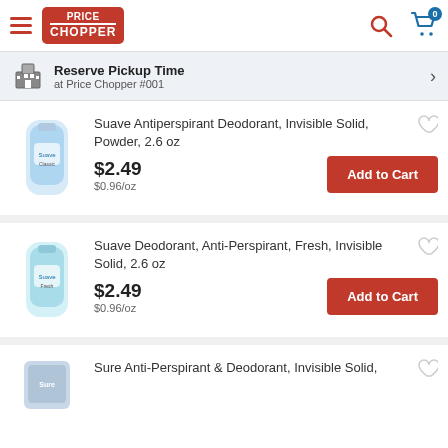Price Chopper - header with hamburger menu, logo, search, and cart (0 items)
Reserve Pickup Time at Price Chopper #001
Suave Antiperspirant Deodorant, Invisible Solid, Powder, 2.6 oz
$2.49
$0.96/oz
Suave Deodorant, Anti-Perspirant, Fresh, Invisible Solid, 2.6 oz
$2.49
$0.96/oz
Sure Anti-Perspirant & Deodorant, Invisible Solid,